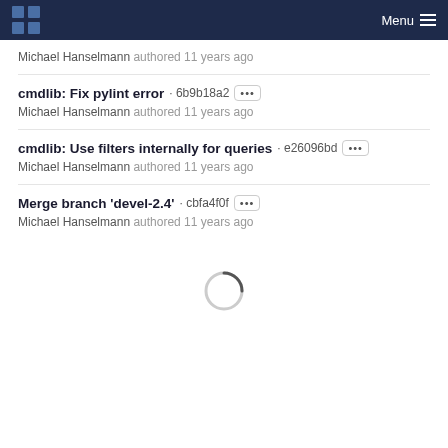Menu
Michael Hanselmann authored 11 years ago
cmdlib: Fix pylint error · 6b9b18a2 [...] Michael Hanselmann authored 11 years ago
cmdlib: Use filters internally for queries · e26096bd [...] Michael Hanselmann authored 11 years ago
Merge branch 'devel-2.4' · cbfa4f0f [...] Michael Hanselmann authored 11 years ago
[Figure (other): Loading spinner circle animation indicator]